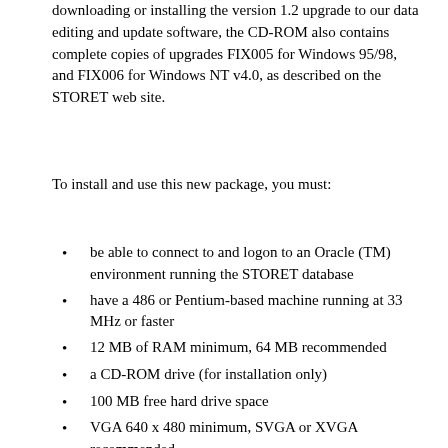downloading or installing the version 1.2 upgrade to our data editing and update software, the CD-ROM also contains complete copies of upgrades FIX005 for Windows 95/98, and FIX006 for Windows NT v4.0, as described on the STORET web site.
To install and use this new package, you must:
be able to connect to and logon to an Oracle (TM) environment running the STORET database
have a 486 or Pentium-based machine running at 33 MHz or faster
12 MB of RAM minimum, 64 MB recommended
a CD-ROM drive (for installation only)
100 MB free hard drive space
VGA 640 x 480 minimum, SVGA or XVGA recommended
Microsoft (TM) mouse or compatible pointing device